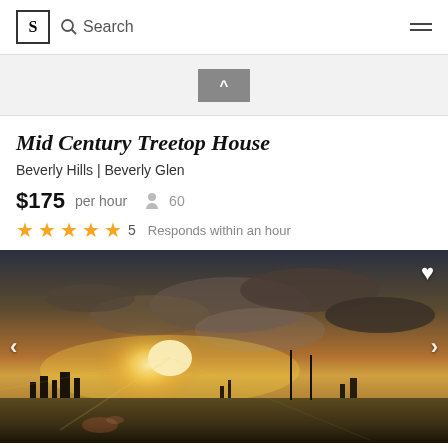S | Search | menu
[Figure (other): Gray banner area with a caret/up-arrow button in the center]
Mid Century Treetop House
Beverly Hills | Beverly Glen
$175 per hour  60  ★★★★★ 5  Responds within an hour
[Figure (photo): Dramatic sunset cityscape photo of Beverly Hills / Los Angeles with golden sunlight breaking through clouds, city skyline and hills in the background. Heart icon top-right. Left and right navigation arrows.]